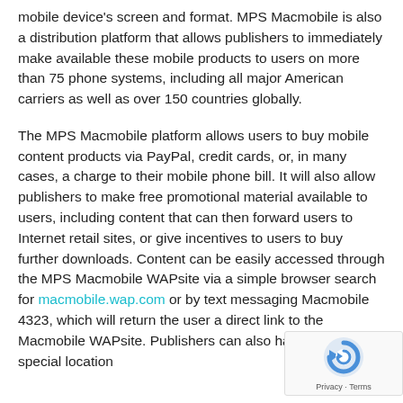mobile device's screen and format. MPS Macmobile is also a distribution platform that allows publishers to immediately make available these mobile products to users on more than 75 phone systems, including all major American carriers as well as over 150 countries globally.
The MPS Macmobile platform allows users to buy mobile content products via PayPal, credit cards, or, in many cases, a charge to their mobile phone bill. It will also allow publishers to make free promotional material available to users, including content that can then forward users to Internet retail sites, or give incentives to users to buy further downloads. Content can be easily accessed through the MPS Macmobile WAPsite via a simple browser search for macmobile.wap.com or by text messaging Macmobile 4323, which will return the user a direct link to the Macmobile WAPsite. Publishers can also have their own special location